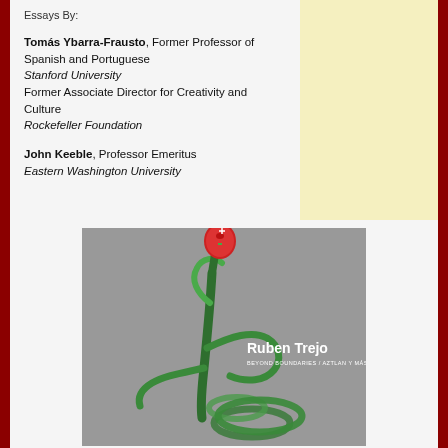Essays By:
Tomás Ybarra-Frausto, Former Professor of Spanish and Portuguese
Stanford University
Former Associate Director for Creativity and Culture
Rockefeller Foundation
John Keeble, Professor Emeritus
Eastern Washington University
[Figure (photo): Book cover of 'Ruben Trejo: Beyond Boundaries / Aztlan y Más Allá' showing a green metal sculpture of an abstract figure with a red mask-like face on a gray background.]